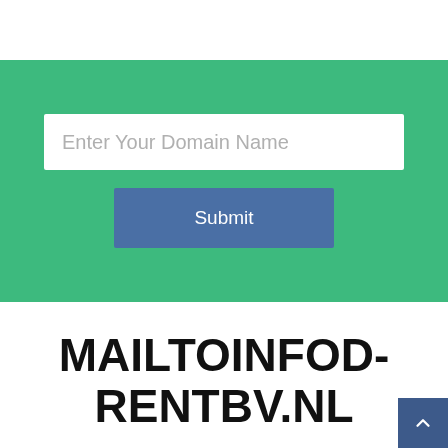[Figure (screenshot): Green form section with a white text input field labeled 'Enter Your Domain Name' and a blue 'Submit' button below it]
MAILTOINFOD-RENTBV.NL